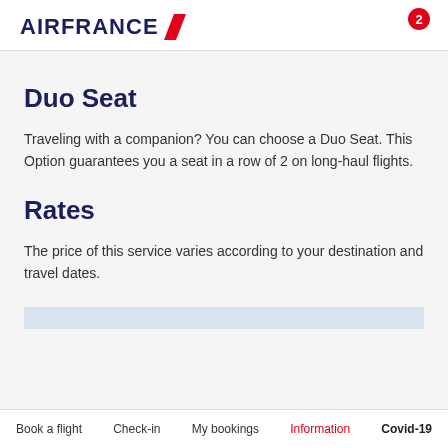AIRFRANCE
Duo Seat
Traveling with a companion? You can choose a Duo Seat. This Option guarantees you a seat in a row of 2 on long-haul flights.
Rates
The price of this service varies according to your destination and travel dates.
Book a flight   Check-in   My bookings   Information   Covid-19